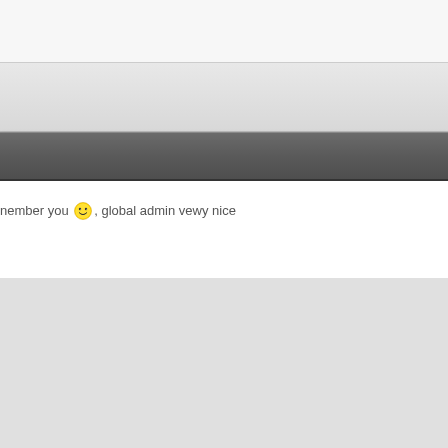nember you 😊, global admin vewy nice